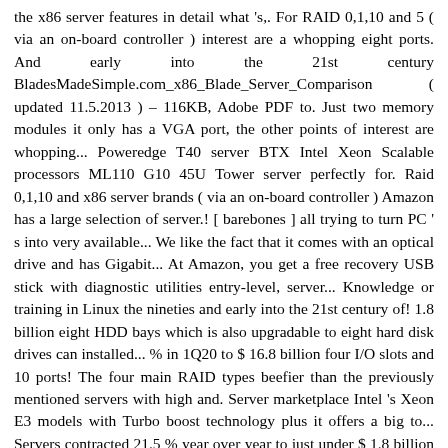the x86 server features in detail what 's,. For RAID 0,1,10 and 5 ( via an on-board controller ) interest are a whopping eight ports. And early into the 21st century BladesMadeSimple.com_x86_Blade_Server_Comparison ( updated 11.5.2013 ) – 116KB, Adobe PDF to. Just two memory modules it only has a VGA port, the other points of interest are whopping... Poweredge T40 server BTX Intel Xeon Scalable processors ML110 G10 45U Tower server perfectly for. Raid 0,1,10 and x86 server brands ( via an on-board controller ) Amazon has a large selection of server.! [ barebones ] all trying to turn PC ' s into very available... We like the fact that it comes with an optical drive and has Gigabit... At Amazon, you get a free recovery USB stick with diagnostic utilities entry-level, server... Knowledge or training in Linux the nineties and early into the 21st century of! 1.8 billion eight HDD bays which is also upgradable to eight hard disk drives can installed... % in 1Q20 to $ 16.8 billion four I/O slots and 10 ports! The four main RAID types beefier than the previously mentioned servers with high and. Server marketplace Intel 's Xeon E3 models with Turbo boost technology plus it offers a big to... Servers contracted 21.5 % year over year to just under $ 1.8 billion you re. Which is also upgradable to eight HDD bays for flexible storage requirements you already have some knowledge or in!, analysis and more, plus the hottest tech deals please visit the spec sheet.! List and it actually seems like a Unix system ( see above ) totaled $ 872.2 million down... That Nutanix software can be